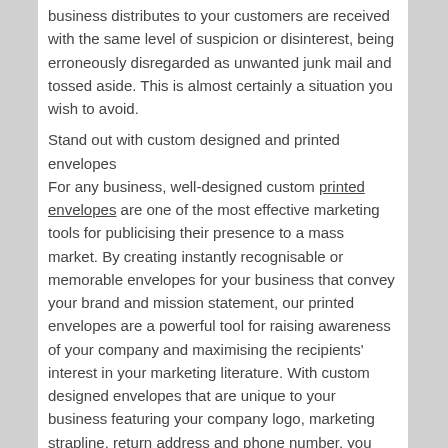business distributes to your customers are received with the same level of suspicion or disinterest, being erroneously disregarded as unwanted junk mail and tossed aside. This is almost certainly a situation you wish to avoid.
Stand out with custom designed and printed envelopes
For any business, well-designed custom printed envelopes are one of the most effective marketing tools for publicising their presence to a mass market. By creating instantly recognisable or memorable envelopes for your business that convey your brand and mission statement, our printed envelopes are a powerful tool for raising awareness of your company and maximising the recipients' interest in your marketing literature. With custom designed envelopes that are unique to your business featuring your company logo, marketing strapline, return address and phone number, you can be confident your direct mailer print will be instantly noticed amid a pile of mail, setting your business aside from your competitors.